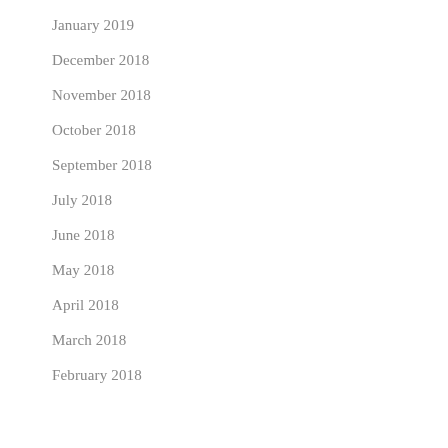January 2019
December 2018
November 2018
October 2018
September 2018
July 2018
June 2018
May 2018
April 2018
March 2018
February 2018